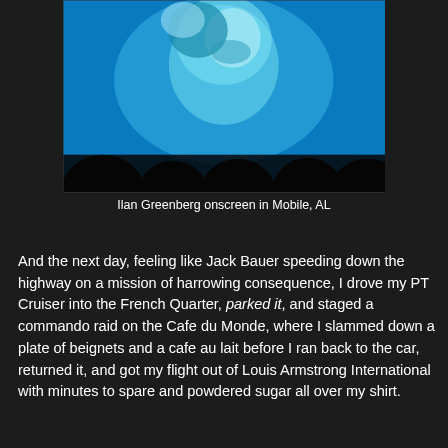[Figure (photo): A man with a beard and hood lit by blue-tinted screen light, with silhouettes of audience members in the foreground. Appears to be projected onscreen at an event in Mobile, AL.]
Ilan Greenberg onscreen in Mobile, AL
And the next day, feeling like Jack Bauer speeding down the highway on a mission of harrowing consequence, I drove my PT Cruiser into the French Quarter, parked it, and staged a commando raid on the Cafe du Monde, where I slammed down a plate of beignets and a cafe au lait before I ran back to the car, returned it, and got my flight out of Louis Armstrong International with minutes to spare and powdered sugar all over my shirt.